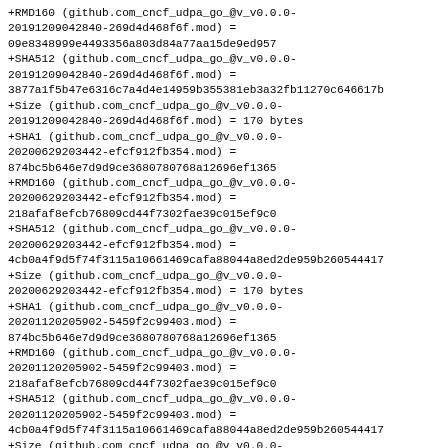+RMD160 (github.com_cncf_udpa_go_@v_v0.0.0-20191209042840-269d4d468f6f.mod) =
09e8348999e4493356a803d84a77aa15de9ed957
+SHA512 (github.com_cncf_udpa_go_@v_v0.0.0-20191209042840-269d4d468f6f.mod) =
3877a1f5b47e6316c7a4d4e14959b355381eb3a32fb11270c646617b
+Size (github.com_cncf_udpa_go_@v_v0.0.0-20191209042840-269d4d468f6f.mod) = 170 bytes
+SHA1 (github.com_cncf_udpa_go_@v_v0.0.0-20200629203442-efcf912fb354.mod) =
874bc5b646e7d9d9ce3680780768a12696ef1365
+RMD160 (github.com_cncf_udpa_go_@v_v0.0.0-20200629203442-efcf912fb354.mod) =
218afaf8efcb76809cd44f7302fae39c015ef9c0
+SHA512 (github.com_cncf_udpa_go_@v_v0.0.0-20200629203442-efcf912fb354.mod) =
4cb0a4f9d5f74f3115a10661469cafa88044a8ed2de959b260544417
+Size (github.com_cncf_udpa_go_@v_v0.0.0-20200629203442-efcf912fb354.mod) = 170 bytes
+SHA1 (github.com_cncf_udpa_go_@v_v0.0.0-20201120205902-5459f2c99403.mod) =
874bc5b646e7d9d9ce3680780768a12696ef1365
+RMD160 (github.com_cncf_udpa_go_@v_v0.0.0-20201120205902-5459f2c99403.mod) =
218afaf8efcb76809cd44f7302fae39c015ef9c0
+SHA512 (github.com_cncf_udpa_go_@v_v0.0.0-20201120205902-5459f2c99403.mod) =
4cb0a4f9d5f74f3115a10661469cafa88044a8ed2de959b260544417
+Size (github.com_cncf_udpa_go_@v_v0.0.0-20201120205902-5459f2c99403.mod) = 170 bytes